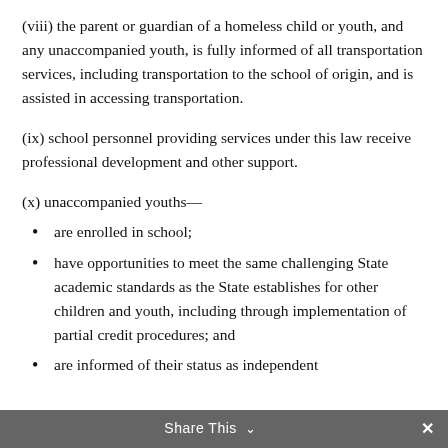(viii) the parent or guardian of a homeless child or youth, and any unaccompanied youth, is fully informed of all transportation services, including transportation to the school of origin, and is assisted in accessing transportation.
(ix) school personnel providing services under this law receive professional development and other support.
(x) unaccompanied youths—
are enrolled in school;
have opportunities to meet the same challenging State academic standards as the State establishes for other children and youth, including through implementation of partial credit procedures; and
are informed of their status as independent
Share This ∨  ×